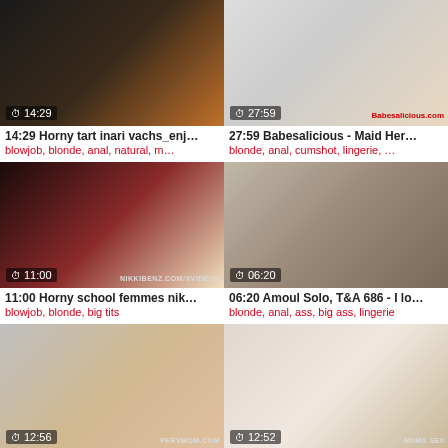[Figure (screenshot): Video thumbnail 14:29 - adult content]
14:29 Horny tart inari vachs_enj…
blowjob, blonde, anal, natural, m…
[Figure (screenshot): Video thumbnail 27:59 - adult content]
27:59 Babesalicious - Maid Her…
blonde, anal, cumshot, lingerie, …
[Figure (screenshot): Video thumbnail 11:00 - adult content]
11:00 Horny school femmes nik…
blowjob, blonde, big tits
[Figure (screenshot): Video thumbnail 06:20 - adult content]
06:20 Amoul Solo, T&A 686 - I lo…
blonde, anal, ass, big ass, lingerie
[Figure (screenshot): Video thumbnail 12:56 - adult content]
12:56 Getting stepMOM's PUSS…
blowjob, blonde, amateur
[Figure (screenshot): Video thumbnail 12:52 - adult content]
12:52 Step_Mom Says "You like …
blowjob, blonde, milf, handjob, h…